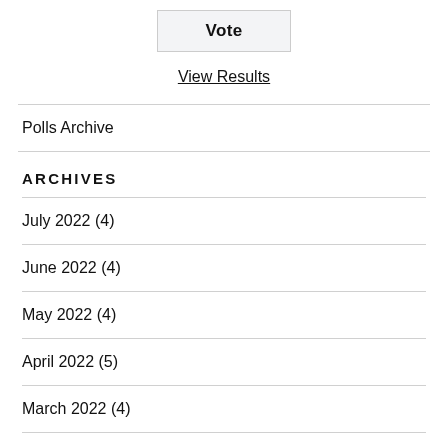Vote
View Results
Polls Archive
ARCHIVES
July 2022 (4)
June 2022 (4)
May 2022 (4)
April 2022 (5)
March 2022 (4)